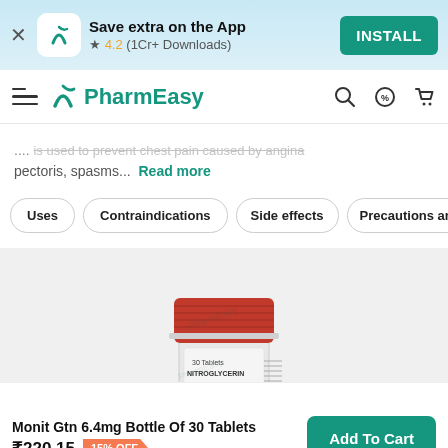Save extra on the App · ★ 4.2 (1Cr+ Downloads) · INSTALL
PharmEasy
...is used to prevent chest pain caused by angina pectoris, spasms... Read more
Uses
Contraindications
Side effects
Precautions and Warni
[Figure (photo): Monit Gtn 6.4mg Bottle of 30 Tablets - white bottle with red cap containing Nitroglycerin Controlled Release Tablets]
Browse offers and get FLAT 15% OFF
Monit Gtn 6.4mg Bottle Of 30 Tablets ₹220.15  15% OFF
Add To Cart